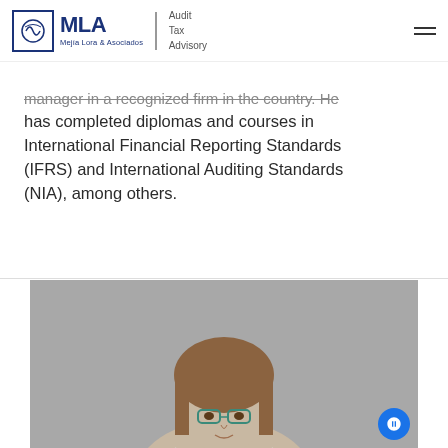MLA Mejía Lora & Asociados | Audit Tax Advisory
manager in a recognized firm in the country. He has completed diplomas and courses in International Financial Reporting Standards (IFRS) and International Auditing Standards (NIA), among others.
[Figure (photo): Portrait photo of a woman with glasses and straight hair, photographed against a gray background]